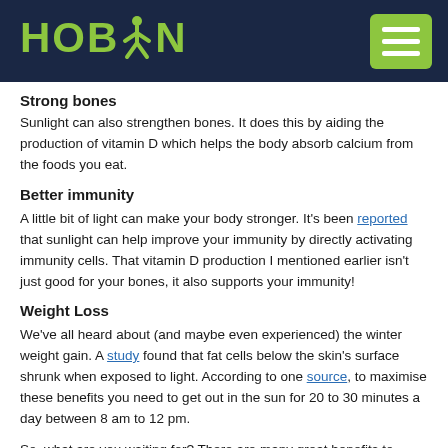[Figure (logo): HOBAN logo with stylized person figure above the letter B, in lime green on dark navy background, with hamburger menu button on the right]
Strong bones
Sunlight can also strengthen bones. It does this by aiding the production of vitamin D which helps the body absorb calcium from the foods you eat.
Better immunity
A little bit of light can make your body stronger. It's been reported that sunlight can help improve your immunity by directly activating immunity cells. That vitamin D production I mentioned earlier isn't just good for your bones, it also supports your immunity!
Weight Loss
We've all heard about (and maybe even experienced) the winter weight gain. A study found that fat cells below the skin's surface shrunk when exposed to light. According to one source, to maximise these benefits you need to get out in the sun for 20 to 30 minutes a day between 8 am to 12 pm.
So, what are you waiting for? There are many great benefits to